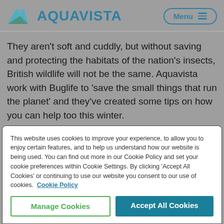[Figure (logo): Aquavista logo with teal geometric mountain/water icon and 'AQUAVISTA' text in teal]
They aren't soft and cuddly, but without saving and protecting the habitats of the nation's insects, British wildlife will not be the same. Aquavista work with Buglife to 'save the small things that run the planet' and they've created some tips on how you can help too this winter.
This website uses cookies to improve your experience, to allow you to enjoy certain features, and to help us understand how our website is being used. You can find out more in our Cookie Policy and set your cookie preferences within Cookie Settings. By clicking 'Accept All Cookies' or continuing to use our website you consent to our use of cookies. Cookie Policy
Manage Cookies
Accept All Cookies